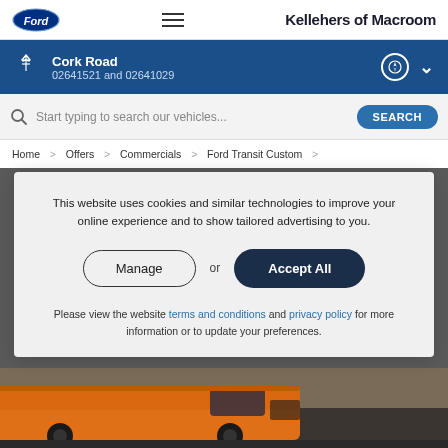Kellehers of Macroom
Cork Road
02641521 and 02641029
Start typing to search our vehicles...
Home > Offers > Commercials > Ford Transit Custom >
This website uses cookies and similar technologies to improve your online experience and to show tailored advertising to you.
Manage or Accept All
Please view the website terms and conditions and privacy policy for more information or to update your preferences.
[Figure (photo): Orange Ford Transit Custom van parked on a street with brick wall background]